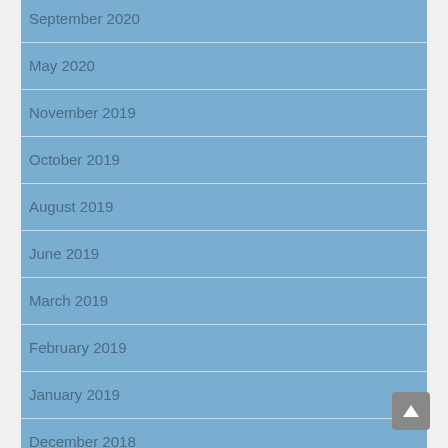September 2020
May 2020
November 2019
October 2019
August 2019
June 2019
March 2019
February 2019
January 2019
December 2018
November 2018